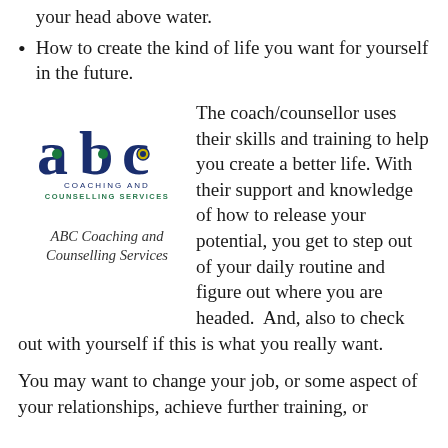your head above water.
How to create the kind of life you want for yourself in the future.
[Figure (logo): ABC Coaching and Counselling Services logo: stylized letters a, b, c in dark blue with green dots, text COACHING AND COUNSELLING SERVICES below in spaced capitals]
ABC Coaching and Counselling Services
The coach/counsellor uses their skills and training to help you create a better life. With their support and knowledge of how to release your potential, you get to step out of your daily routine and figure out where you are headed. And, also to check out with yourself if this is what you really want.
You may want to change your job, or some aspect of your relationships, achieve further training, or